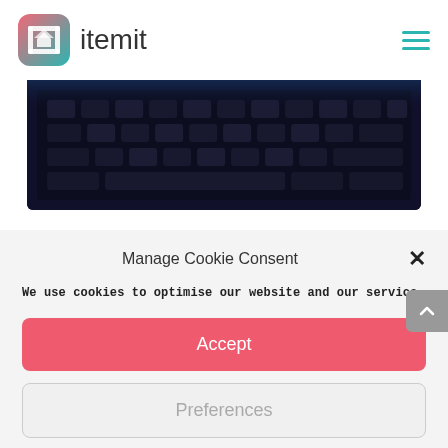[Figure (logo): itemit logo — rounded square icon with bracket and house graphic in teal/pink gradient, followed by the text 'itemit' in dark grey]
[Figure (photo): Dark photo of laptop keyboard, bottom portion visible, dark navy/black tones]
Manage Cookie Consent
We use cookies to optimise our website and our service.
Accept
Preferences